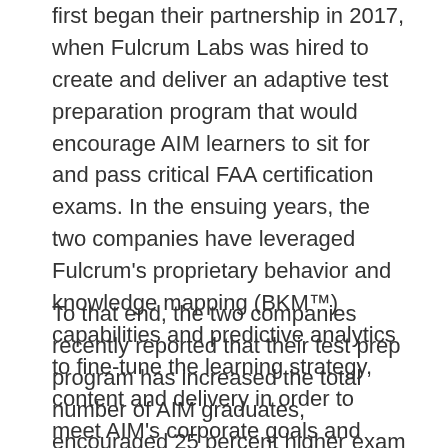first began their partnership in 2017, when Fulcrum Labs was hired to create and deliver an adaptive test preparation program that would encourage AIM learners to sit for and pass critical FAA certification exams. In the ensuing years, the two companies have leveraged Fulcrum's proprietary behavior and knowledge mapping (BKM™) capabilities and predictive analytics to fine-tune the learning strategy, content and delivery in order to meet AIM's corporate goals and program objectives.
To that end, the two companies recently reported that their test prep program has increased the total number of AIM graduates, encouraged 25 percent higher exam participation due to